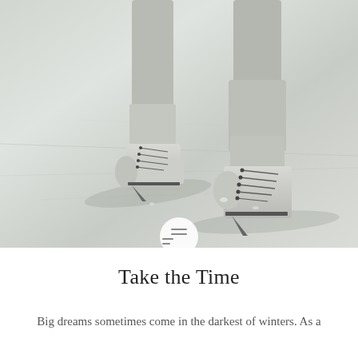[Figure (photo): Close-up photo of ice skates on an ice rink. Two white ice skates with black blades are visible, worn by a person in grey pants/socks. The ice surface shows skate marks and has a light grey tone. Shadows cast on the ice.]
Take the Time
Big dreams sometimes come in the darkest of winters. As a